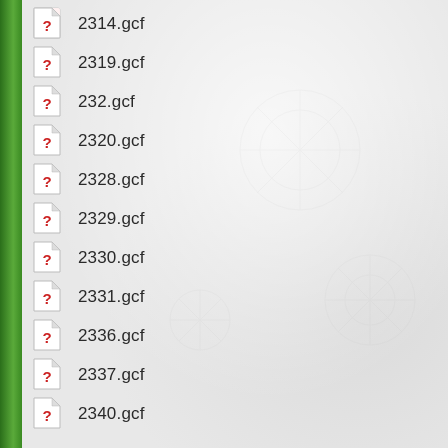2314.gcf
2319.gcf
232.gcf
2320.gcf
2328.gcf
2329.gcf
2330.gcf
2331.gcf
2336.gcf
2337.gcf
2340.gcf